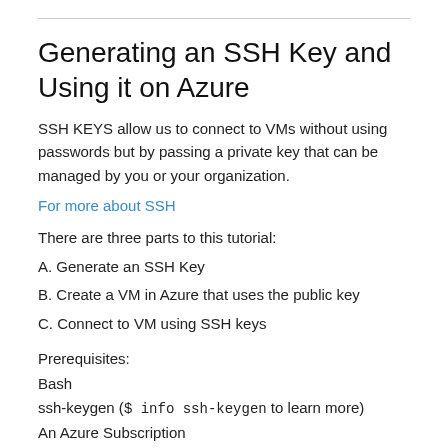Generating an SSH Key and Using it on Azure
SSH KEYS allow us to connect to VMs without using passwords but by passing a private key that can be managed by you or your organization.
For more about SSH
There are three parts to this tutorial:
A. Generate an SSH Key
B. Create a VM in Azure that uses the public key
C. Connect to VM using SSH keys
Prerequisites:
Bash
ssh-keygen ($ info ssh-keygen to learn more)
An Azure Subscription
A. Generate an SSH Key
Open bash and enter: